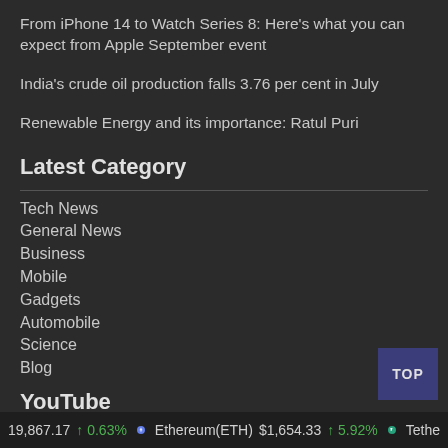From iPhone 14 to Watch Series 8: Here's what you can expect from Apple September event
India's crude oil production falls 3.76 per cent in July
Renewable Energy and its importance: Ratul Puri
Latest Category
Tech News
General News
Business
Mobile
Gadgets
Automobile
Science
Blog
YouTube
19,867.17 ↑ 0.63%   Ethereum(ETH) $1,654.33 ↑ 5.92%   Tethe